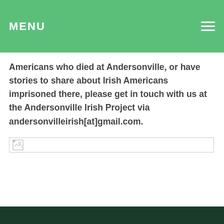MENU
Americans who died at Andersonville, or have stories to share about Irish Americans imprisoned there, please get in touch with us at the Andersonville Irish Project via andersonvilleirish[at]gmail.com.
[Figure (photo): Broken/missing image placeholder]